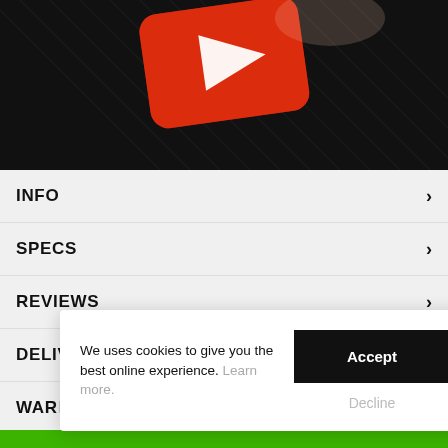[Figure (screenshot): YouTube video thumbnail showing a red YouTube play button icon on a dark ridged surface, partially cut off at top]
INFO
SPECS
REVIEWS
DELIVERY
WARRANTY
SIZE INFO
We uses cookies to give you the best online experience. Learn more.
Accept
Decline